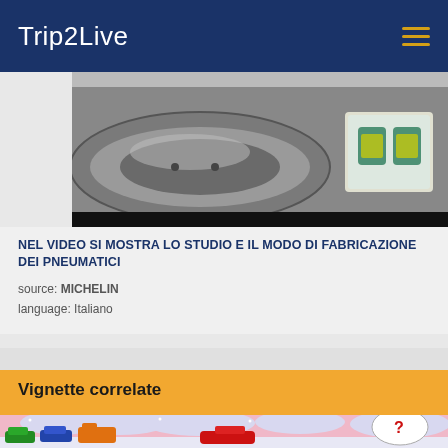Trip2Live
[Figure (photo): Close-up photo of a tire cross-section and mechanical component, partially cropped at top]
NEL VIDEO SI MOSTRA LO STUDIO E IL MODO DI FABRICAZIONE DEI PNEUMATICI
source: MICHELIN
language: Italiano
Vignette correlate
[Figure (illustration): Cartoon/illustration showing cars in snowy conditions with a tire and question mark speech bubble]